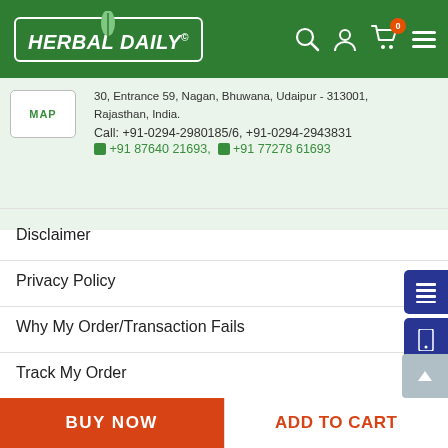HERBAL DAILY
30, Entrance 59, Nagan, Bhuwana, Udaipur - 313001, Rajasthan, India.
Call: +91-0294-2980185/6, +91-0294-2943831
+91 87640 21693, +91 77278 61693
Disclaimer
Privacy Policy
Why My Order/Transaction Fails
Track My Order
Sales Representative (MR) Form
Terms and Conditions
Shipping and Return Policy
BUY NOW    ADD TO CART